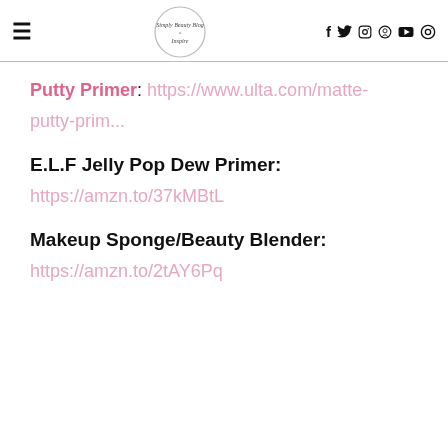≡ [Simply Beauty Blog logo] f twitter instagram pinterest youtube 🔍
Putty Primer: https://www.ulta.com/matte-putty-prim...
E.L.F Jelly Pop Dew Primer: https://amzn.to/37kMBtL
Makeup Sponge/Beauty Blender: https://amzn.to/2tAY6Pq